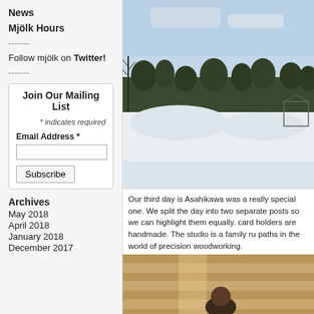News
Mjölk Hours
-------
Follow mjölk on Twitter!
-------
Join Our Mailing List
* indicates required
Email Address *
[input]
Subscribe
Archives
May 2018
April 2018
January 2018
December 2017
[Figure (photo): Winter landscape with snow-covered ground, bare trees, dark treeline in background, blue sky with light clouds, and what appears to be a small structure or greenhouse on the right side.]
Our third day is Asahikawa was a really special one. We split the day into two separate posts so we can highlight them equally. card holders are handmade. The studio is a family run paths in the world of precision woodworking.
[Figure (photo): Interior wooden workshop scene with a person visible, wood paneling and natural light from above.]